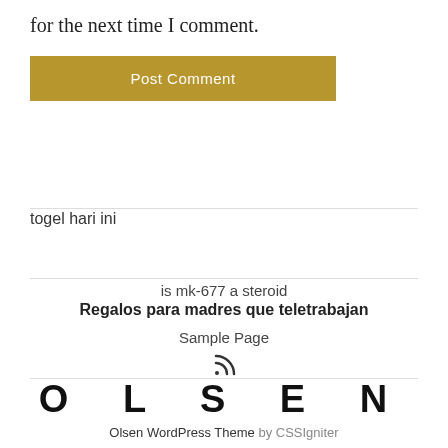for the next time I comment.
Post Comment
togel hari ini
is mk-677 a steroid
Regalos para madres que teletrabajan
Sample Page
[Figure (other): RSS feed icon]
O L S E N
Olsen WordPress Theme by CSSIgniter